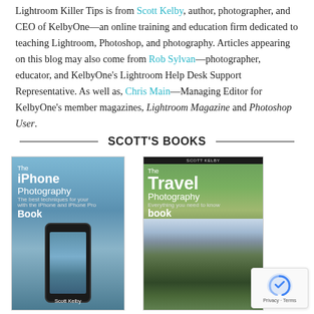Lightroom Killer Tips is from Scott Kelby, author, photographer, and CEO of KelbyOne—an online training and education firm dedicated to teaching Lightroom, Photoshop, and photography. Articles appearing on this blog may also come from Rob Sylvan—photographer, educator, and KelbyOne's Lightroom Help Desk Support Representative. As well as, Chris Main—Managing Editor for KelbyOne's member magazines, Lightroom Magazine and Photoshop User.
SCOTT'S BOOKS
[Figure (photo): Book cover: The iPhone Photography Book by Scott Kelby. Blue background with title text and an iPhone showing a lake and castle scene.]
[Figure (photo): Book cover: The Travel Photography Book by Scott Kelby. Shows dramatic mountain landscape (Dolomites) with green valleys and a small village.]
[Figure (other): Google reCAPTCHA badge with Privacy and Terms links.]